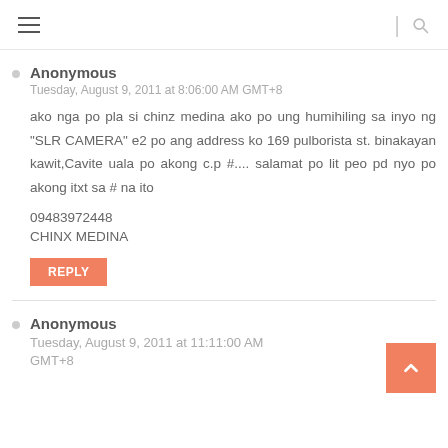≡ | 🔍
Anonymous
Tuesday, August 9, 2011 at 8:06:00 AM GMT+8
ako nga po pla si chinz medina ako po ung humihiling sa inyo ng "SLR CAMERA" e2 po ang address ko 169 pulborista st. binakayan kawit,Cavite uala po akong c.p #.... salamat po lit peo pd nyo po akong itxt sa # na ito

09483972448
CHINX MEDINA
Anonymous
Tuesday, August 9, 2011 at 11:11:00 AM GMT+8